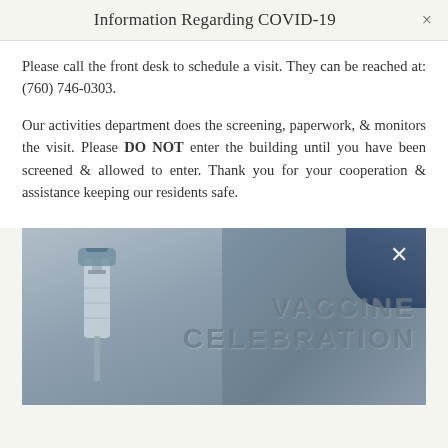Information Regarding COVID-19
Please call the front desk to schedule a visit. They can be reached at: (760) 746-0303.
Our activities department does the screening, paperwork, & monitors the visit. Please DO NOT enter the building until you have been screened & allowed to enter. Thank you for your cooperation & assistance keeping our residents safe.
[Figure (photo): Video thumbnail showing a gloved hand holding a vaccine syringe with text overlay reading VACCINE CELEBRATION and a close button (×) in the upper right corner.]